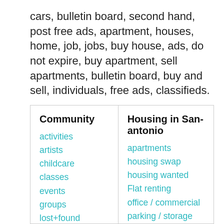cars, bulletin board, second hand, post free ads, apartment, houses, home, job, jobs, buy house, ads, do not expire, buy apartment, sell apartments, bulletin board, buy and sell, individuals, free ads, classifieds.
| Community | Housing in San-antonio |
| --- | --- |
| activities | apartments |
| artists | housing swap |
| childcare | housing wanted |
| classes | Flat renting |
| events | office / commercial |
| groups | parking / storage |
| lost+found | real estate for sale |
| musicians | rooms / shared |
| pets |  |